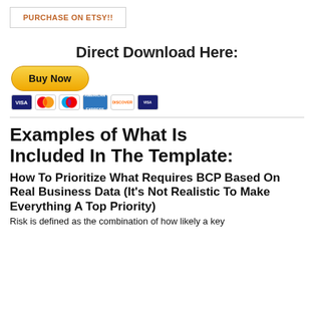[Figure (other): PURCHASE ON ETSY!! button with orange text and grey border]
Direct Download Here:
[Figure (other): PayPal Buy Now button (yellow rounded) with payment card icons below: VISA, Mastercard, Maestro, American Express, Discover, Visa Debit]
Examples of What Is Included In The Template:
How To Prioritize What Requires BCP Based On Real Business Data (It's Not Realistic To Make Everything A Top Priority)
Risk is defined as the combination of how likely a key